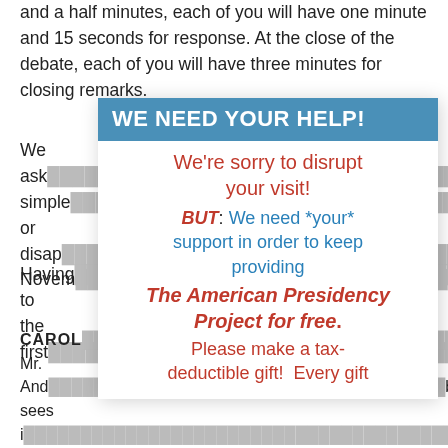and a half minutes, each of you will have one minute and 15 seconds for response. At the close of the debate, each of you will have three minutes for closing remarks.
[Figure (other): A modal/popup overlay box with header 'WE NEED YOUR HELP!' in blue, containing red and blue text asking for donations to The American Presidency Project, overlaid on a document page.]
We ask ... simple ... approval or disap... Novem...
Having ... ond to the first...
CAROL... VINE: Mr. And... blic sees i... oblem, yet, as... persona... ing to cure inf... that might h... actually adding inflationary elements to the system, such as indexing. They have gone for what is politically popular, rather than for what might work and amount to leadership.